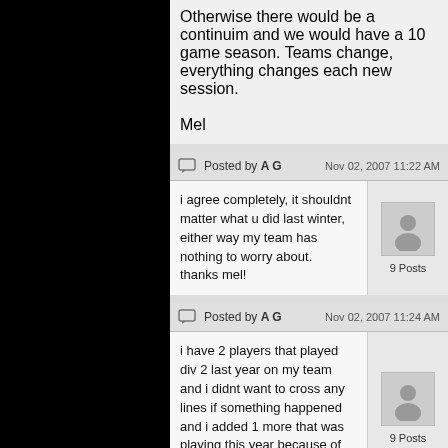Otherwise there would be a continuim and we would have a 10 game season. Teams change, everything changes each new session.

Mel
Posted by A G — Nov 02, 2007 11:22 AM
i agree completely, it shouldnt matter what u did last winter, either way my team has nothing to worry about.
thanks mel!
9 Posts
Posted by A G — Nov 02, 2007 11:24 AM
i have 2 players that played div 2 last year on my team and i didnt want to cross any lines if something happened and i added 1 more that was playing this year because of what they did last season.
9 Posts
Posted by melvin — Nov 02, 2007 02:54 PM